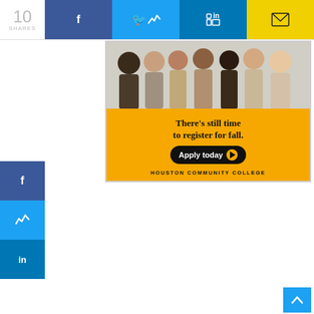10 SHARES | [Facebook] [Twitter] [LinkedIn] [Email]
[Figure (infographic): Houston Community College advertisement banner: group photo of diverse students at top, yellow background with text 'There’s still time to register for fall.' and 'Apply today' button, 'HOUSTON COMMUNITY COLLEGE' at bottom]
The grandson of a Baptist preacher in China, Chu grew up in a strict Southern Baptist religious home with parents who emigrated from Hong Kong in 1969. He attended Westminster Christian School, went to chapel weekly, and was assigned to read the Bible